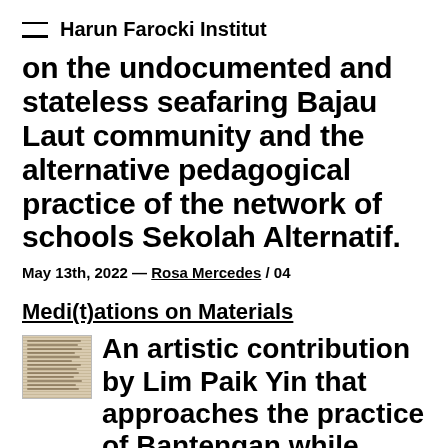Harun Farocki Institut
on the undocumented and stateless seafaring Bajau Laut community and the alternative pedagogical practice of the network of schools Sekolah Alternatif.
May 13th, 2022 — Rosa Mercedes / 04
Medi(t)ations on Materials
[Figure (photo): Small thumbnail image of a handwritten or printed text document, appearing aged/yellowed]
An artistic contribution by Lim Paik Yin that approaches the practice of Bantengan while